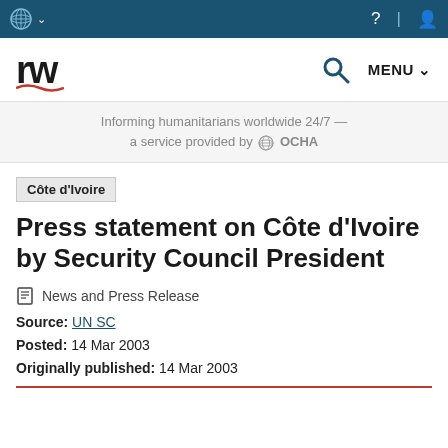ReliefWeb — Informing humanitarians worldwide 24/7 — a service provided by OCHA
Côte d'Ivoire
Press statement on Côte d'Ivoire by Security Council President
News and Press Release
Source: UN SC
Posted: 14 Mar 2003
Originally published: 14 Mar 2003